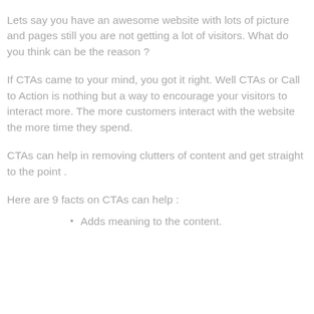Lets say you have an awesome website with lots of picture and pages still you are not getting a lot of visitors. What do you think can be the reason ?
If CTAs came to your mind, you got it right. Well CTAs or Call to Action is nothing but a way to encourage your visitors to interact more. The more customers interact with the website the more time they spend.
CTAs can help in removing clutters of content and get straight to the point .
Here are 9 facts on CTAs can help :
Adds meaning to the content.